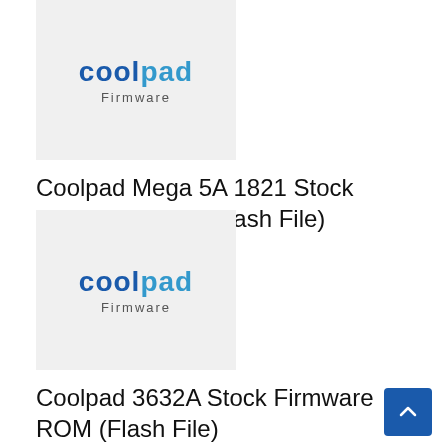[Figure (logo): Coolpad Firmware logo on light grey background, top card]
Coolpad Mega 5A 1821 Stock Firmware ROM (Flash File)
[Figure (logo): Coolpad Firmware logo on light grey background, bottom card]
Coolpad 3632A Stock Firmware ROM (Flash File)